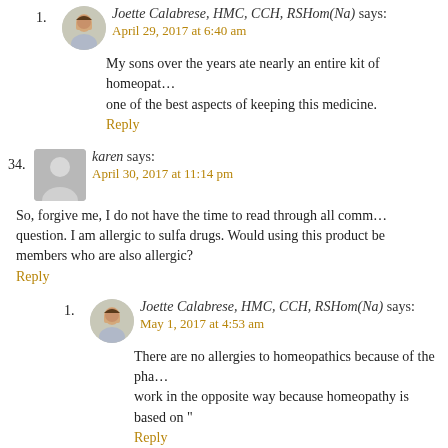1. Joette Calabrese, HMC, CCH, RSHom(Na) says: April 29, 2017 at 6:40 am
My sons over the years ate nearly an entire kit of homeopathic remedies. That is one of the best aspects of keeping this medicine.
Reply
34. karen says: April 30, 2017 at 11:14 pm
So, forgive me, I do not have the time to read through all comments so here is my question. I am allergic to sulfa drugs. Would using this product be dangerous for family members who are also allergic?
Reply
1. Joette Calabrese, HMC, CCH, RSHom(Na) says: May 1, 2017 at 4:53 am
There are no allergies to homeopathics because of the pharmacology. They actually work in the opposite way because homeopathy is based on "like cures like".
Reply